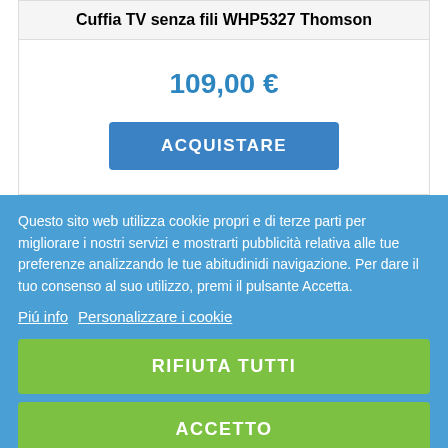Cuffia TV senza fili WHP5327 Thomson
109,00 €
ACQUISTARE
Questo sito web utilizza cookie propri e di terze parti per migliorare i nostri servizi e mostrarti pubblicità relativa alle tue preferenze analizzando le tue abitudinidi navigazione. Per dare il tuo consenso al suo utilizzo, premi il pulsante Accetta.
Piú info   Personalizzare i cookie
RIFIUTA TUTTI
ACCETTO